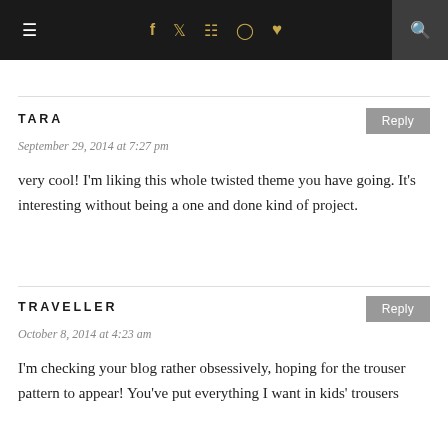Navigation bar with menu, social icons (f, Twitter, Instagram, Pinterest, heart), and search
partial header text
TARA
September 29, 2014 at 7:27 pm
very cool! I'm liking this whole twisted theme you have going. It's interesting without being a one and done kind of project.
TRAVELLER
October 8, 2014 at 4:23 am
I'm checking your blog rather obsessively, hoping for the trouser pattern to appear! You've put everything I want in kids' trousers